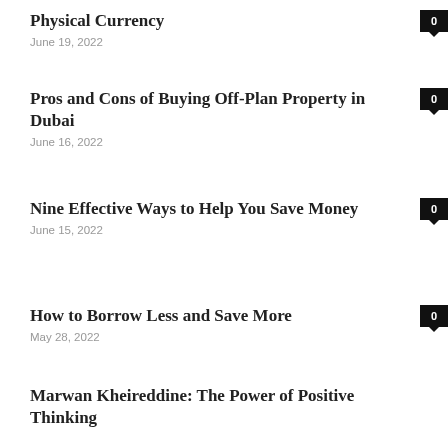Physical Currency
June 19, 2022
Pros and Cons of Buying Off-Plan Property in Dubai
June 16, 2022
Nine Effective Ways to Help You Save Money
June 15, 2022
How to Borrow Less and Save More
May 28, 2022
Marwan Kheireddine: The Power of Positive Thinking